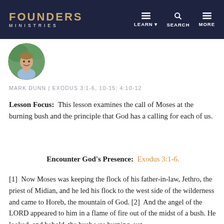FOUNDERS MINISTRIES | LEARN | SEARCH | MORE
[Figure (photo): Circular author headshot photo of Mark Dunn, a man smiling, wearing a light blue shirt, with green foliage background]
MARK DUNN | EXODUS 3:1-6, 10-15; 4:10-12
Lesson Focus: This lesson examines the call of Moses at the burning bush and the principle that God has a calling for each of us.
Encounter God's Presence: Exodus 3:1-6.
[1] Now Moses was keeping the flock of his father-in-law, Jethro, the priest of Midian, and he led his flock to the west side of the wilderness and came to Horeb, the mountain of God. [2] And the angel of the LORD appeared to him in a flame of fire out of the midst of a bush. He looked, and behold, the bush was burning, yet